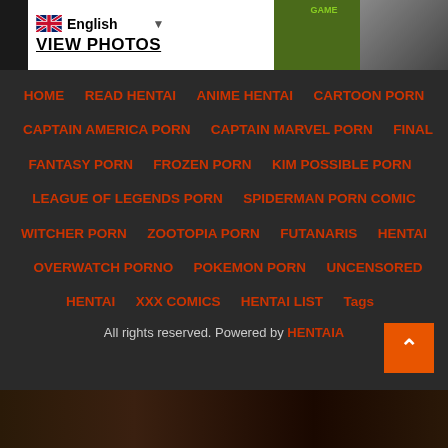[Figure (screenshot): Top banner with English language selector, VIEW PHOTOS text, and adult content image on right]
HOME
READ HENTAI
ANIME HENTAI
CARTOON PORN
CAPTAIN AMERICA PORN
CAPTAIN MARVEL PORN
FINAL FANTASY PORN
FROZEN PORN
KIM POSSIBLE PORN
LEAGUE OF LEGENDS PORN
SPIDERMAN PORN COMIC
WITCHER PORN
ZOOTOPIA PORN
FUTANARIS
HENTAI
OVERWATCH PORNO
POKEMON PORN
UNCENSORED HENTAI
XXX COMICS
HENTAI LIST
Tags
All rights reserved. Powered by HENTAIA
[Figure (photo): Bottom strip showing partial adult content photo]